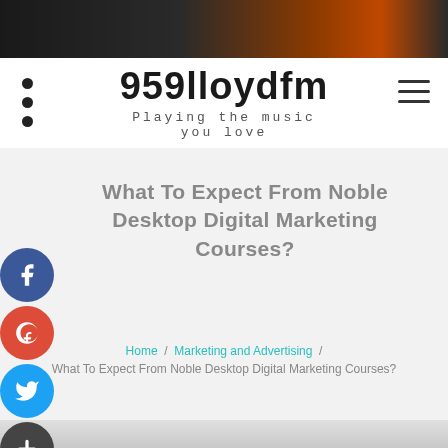[Figure (photo): Dark header image with musical equipment (microphone, bokeh lights)]
959lloydfm – Playing the music you love
What To Expect From Noble Desktop Digital Marketing Courses?
Home / Marketing and Advertising / What To Expect From Noble Desktop Digital Marketing Courses?